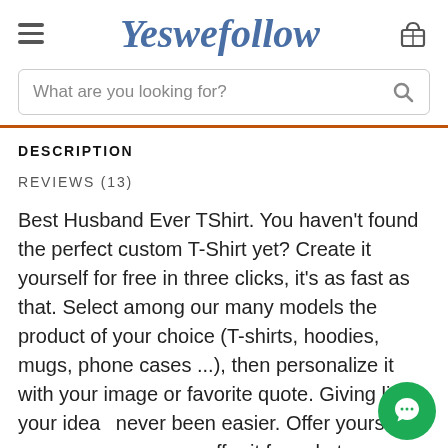Yeswefollow
What are you looking for?
DESCRIPTION
REVIEWS (13)
Best Husband Ever TShirt. You haven't found the perfect custom T-Shirt yet? Create it yourself for free in three clicks, it's as fast as that. Select among our many models the product of your choice (T-shirts, hoodies, mugs, phone cases ...), then personalize it with your image or favorite quote. Giving life to your ideas has never been easier. Offer yourself your own creation or offer it for sale to our community of users and take full